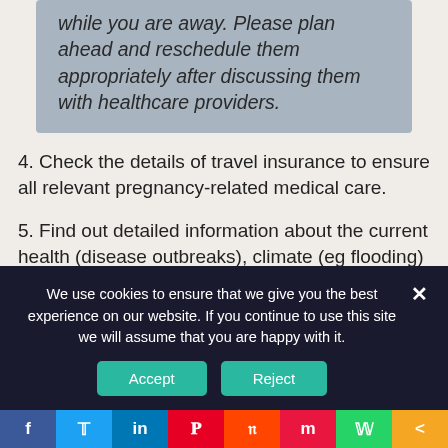while you are away. Please plan ahead and reschedule them appropriately after discussing them with healthcare providers.
4. Check the details of travel insurance to ensure all relevant pregnancy-related medical care.
5. Find out detailed information about the current health (disease outbreaks), climate (eg flooding) and political situation (ongoing conflict or war zone) of the destination and place of stay.
We use cookies to ensure that we give you the best experience on our website. If you continue to use this site we will assume that you are happy with it.